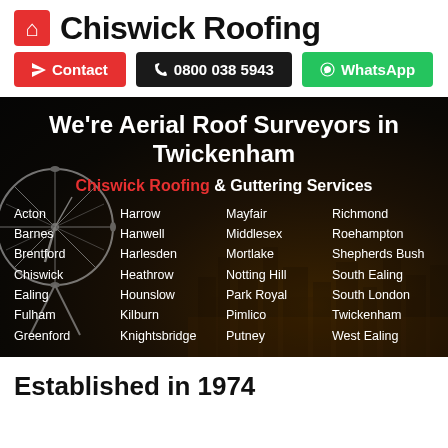Chiswick Roofing
Contact | 0800 038 5943 | WhatsApp
[Figure (screenshot): Dark hero banner with London Eye silhouette and city skyline at night. Text: We're Aerial Roof Surveyors in Twickenham. Chiswick Roofing & Guttering Services. List of service locations in four columns.]
Acton
Barnes
Brentford
Chiswick
Ealing
Fulham
Greenford
Harrow
Hanwell
Harlesden
Heathrow
Hounslow
Kilburn
Knightsbridge
Mayfair
Middlesex
Mortlake
Notting Hill
Park Royal
Pimlico
Putney
Richmond
Roehampton
Shepherds Bush
South Ealing
South London
Twickenham
West Ealing
Established in 1974